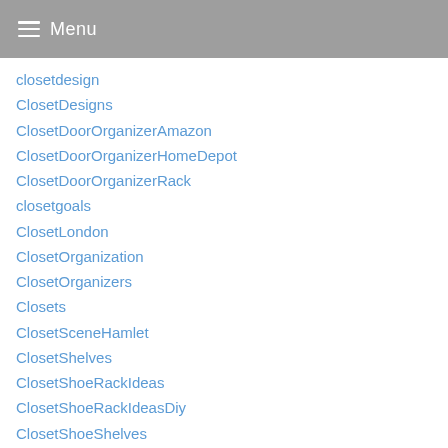Menu
closetdesign
ClosetDesigns
ClosetDoorOrganizerAmazon
ClosetDoorOrganizerHomeDepot
ClosetDoorOrganizerRack
closetgoals
ClosetLondon
ClosetOrganization
ClosetOrganizers
Closets
ClosetSceneHamlet
ClosetShelves
ClosetShoeRackIdeas
ClosetShoeRackIdeasDiy
ClosetShoeShelves
ClosetShoeShelvesWood